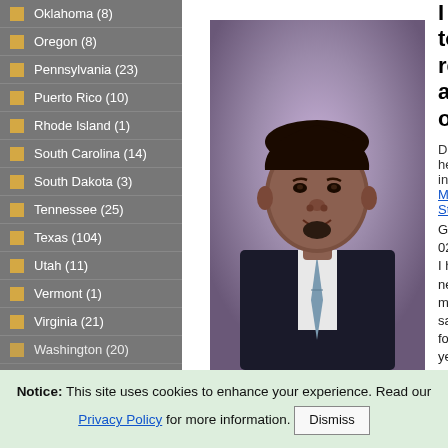Oklahoma (8)
Oregon (8)
Pennsylvania (23)
Puerto Rico (10)
Rhode Island (1)
South Carolina (14)
South Dakota (3)
Tennessee (25)
Texas (104)
Utah (11)
Vermont (1)
Virginia (21)
Washington (20)
[Figure (photo): Portrait photo of a man in a suit and tie against a purple/mauve background]
I kn to rec an o opp
Damo helps in De Michi State GDI A 02/27 I have netw mark sales for m year how an e
Notice: This site uses cookies to enhance your experience. Read our Privacy Policy for more information. Dismiss